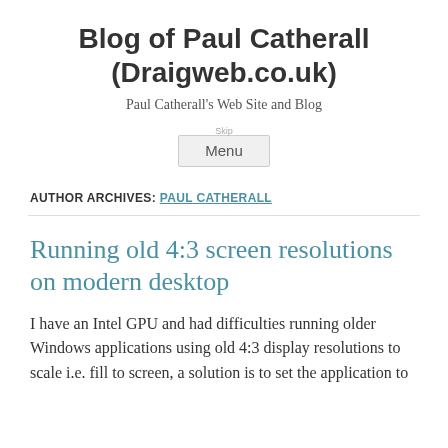Blog of Paul Catherall (Draigweb.co.uk)
Paul Catherall's Web Site and Blog
Menu
AUTHOR ARCHIVES: PAUL CATHERALL
Running old 4:3 screen resolutions on modern desktop
I have an Intel GPU and had difficulties running older Windows applications using old 4:3 display resolutions to scale i.e. fill to screen, a solution is to set the application to